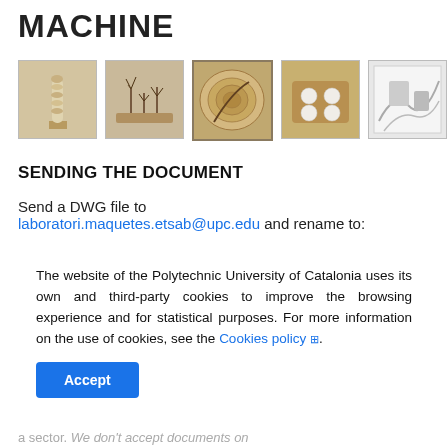MACHINE
[Figure (photo): Row of five photos of wooden architectural models and objects on a workbench]
SENDING THE DOCUMENT
Send a DWG file to laboratori.maquetes.etsab@upc.edu and rename to:
The website of the Polytechnic University of Catalonia uses its own and third-party cookies to improve the browsing experience and for statistical purposes. For more information on the use of cookies, see the Cookies policy.
Accept